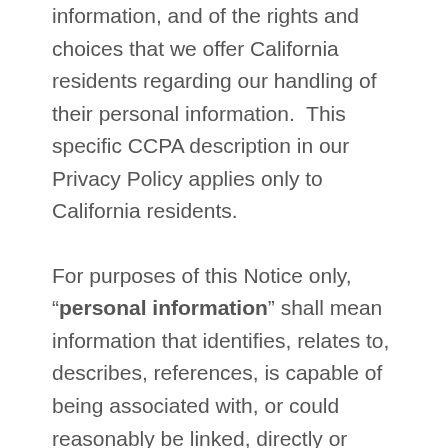information, and of the rights and choices that we offer California residents regarding our handling of their personal information.  This specific CCPA description in our Privacy Policy applies only to California residents.
For purposes of this Notice only, “personal information” shall mean information that identifies, relates to, describes, references, is capable of being associated with, or could reasonably be linked, directly or indirectly, with a particular